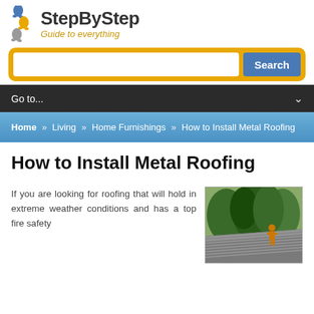[Figure (logo): StepByStep - Guide to everything logo with two footprint icons]
[Figure (screenshot): Search bar with orange background and blue Search button]
Go to...
Home » Living » Home Furnishings » How to Install Metal Roofing
How to Install Metal Roofing
If you are looking for roofing that will hold in extreme weather conditions and has a top fire safety
[Figure (photo): Photo of a person installing metal roofing with trees in background]